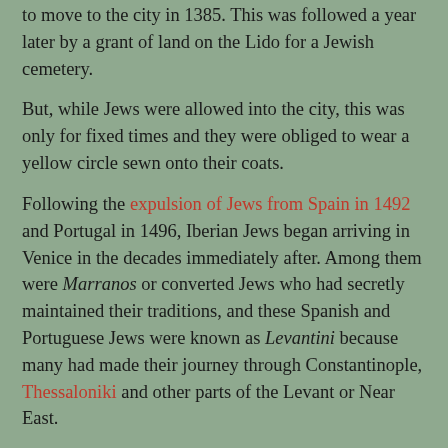to move to the city in 1385. This was followed a year later by a grant of land on the Lido for a Jewish cemetery.
But, while Jews were allowed into the city, this was only for fixed times and they were obliged to wear a yellow circle sewn onto their coats.
Following the expulsion of Jews from Spain in 1492 and Portugal in 1496, Iberian Jews began arriving in Venice in the decades immediately after. Among them were Marranos or converted Jews who had secretly maintained their traditions, and these Spanish and Portuguese Jews were known as Levantini because many had made their journey through Constantinople, Thessaloniki and other parts of the Levant or Near East.
Increasing numbers of Jews arrived in Venice in the first decade of the 16th century, stimulating an increase in bigotry flamed by the some religious orders. The Ghetto was decreed in Venice in 1516, and the Papal State – not to be outdone – instituted another version of the ghetto in Rome in 1555.